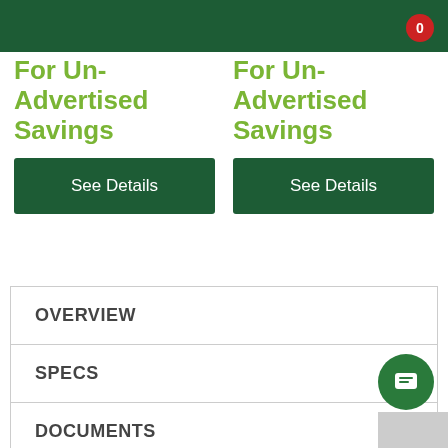0
For Un-Advertised Savings
See Details
For Un-Advertised Savings
See Details
OVERVIEW
SPECS
DOCUMENTS
VIDEOS